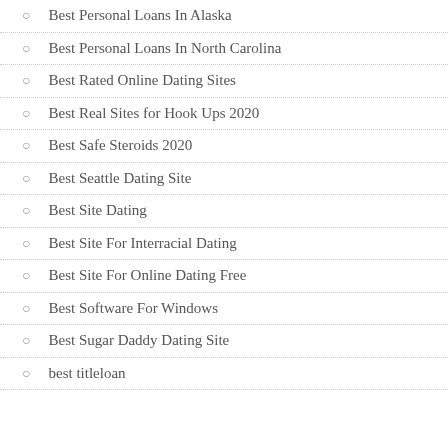Best Personal Loans In Alaska
Best Personal Loans In North Carolina
Best Rated Online Dating Sites
Best Real Sites for Hook Ups 2020
Best Safe Steroids 2020
Best Seattle Dating Site
Best Site Dating
Best Site For Interracial Dating
Best Site For Online Dating Free
Best Software For Windows
Best Sugar Daddy Dating Site
best titleloan